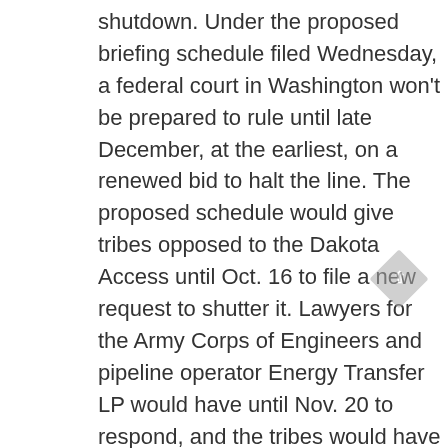shutdown. Under the proposed briefing schedule filed Wednesday, a federal court in Washington won't be prepared to rule until late December, at the earliest, on a renewed bid to halt the line. The proposed schedule would give tribes opposed to the Dakota Access until Oct. 16 to file a new request to shutter it. Lawyers for the Army Corps of Engineers and pipeline operator Energy Transfer LP would have until Nov. 20 to respond, and the tribes would have until Dec. 18 for final briefs.
15. The Bank of England gave the clearest signal yet that it may consider cutting interest rates below zero as the economy enters a period of unusual uncertainty. The pound fell. Policy makers, led by Governor Andrew Bailey voted unanimously to maintain their key interest